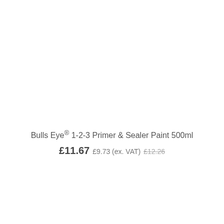Bulls Eye® 1-2-3 Primer & Sealer Paint 500ml
£11.67 £9.73 (ex. VAT) £12.26